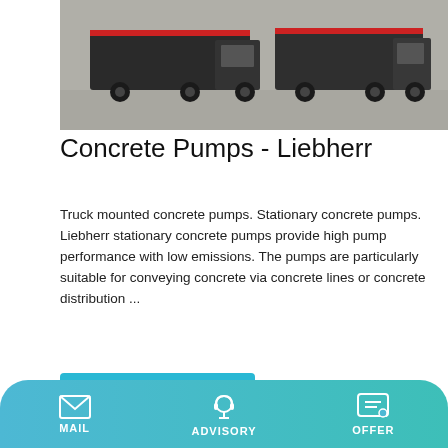[Figure (photo): Truck mounted concrete pumps parked in a yard, viewed from the side. Dark vehicles on a grey concrete surface.]
Concrete Pumps - Liebherr
Truck mounted concrete pumps. Stationary concrete pumps. Liebherr stationary concrete pumps provide high pump performance with low emissions. The pumps are particularly suitable for conveying concrete via concrete lines or concrete distribution ...
Learn More
[Figure (photo): A stationary concrete pump (blue and white machinery) with a conveyor belt component, on a light grey background.]
MAIL   ADVISORY   OFFER